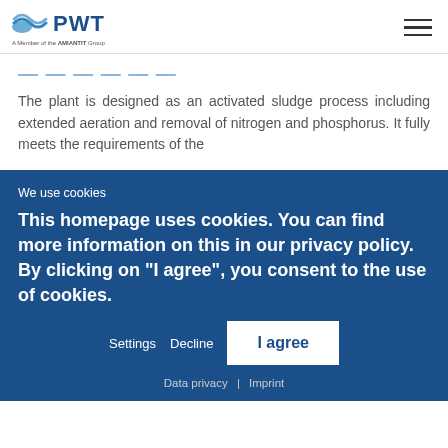[Figure (logo): PWT logo with wave graphic and tagline 'A Member of the AMIANTIT Group']
The plant is designed as an activated sludge process including extended aeration and removal of nitrogen and phosphorus. It fully meets the requirements of the
We use cookies
This homepage uses cookies. You can find more information on this in our privacy policy. By clicking on "I agree", you consent to the use of cookies.
Settings  Decline  I agree
Data privacy | Imprint